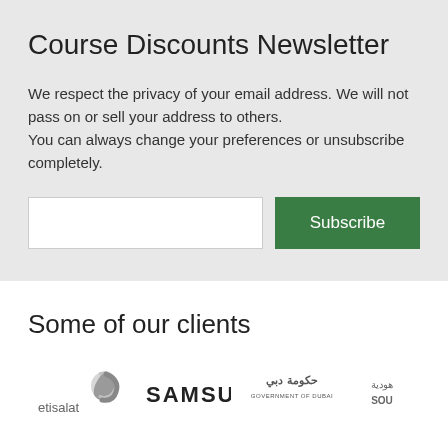Course Discounts Newsletter
We respect the privacy of your email address. We will not pass on or sell your address to others.
You can always change your preferences or unsubscribe completely.
Some of our clients
[Figure (logo): Etisalat logo - grey text with orange/red symbol]
[Figure (logo): Samsung logo - bold black text]
[Figure (logo): Government of Dubai logo - Arabic calligraphy above English text]
[Figure (logo): SOU logo - Arabic and English text]